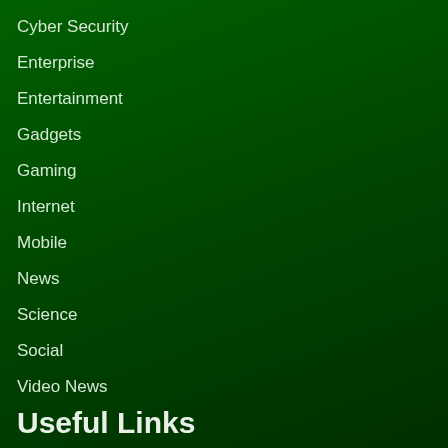Cyber Security
Enterprise
Entertainment
Gadgets
Gaming
Internet
Mobile
News
Science
Social
Video News
Useful Links